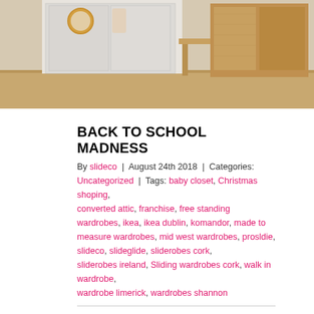[Figure (photo): Interior room photo showing a wardrobe/closet with sliding glass panels, a round gold mirror on the wall, and wooden furniture/desk area with wood-grain finish.]
BACK TO SCHOOL MADNESS
By slideco | August 24th 2018 | Categories: Uncategorized | Tags: baby closet, Christmas shoping, converted attic, franchise, free standing wardrobes, ikea, ikea dublin, komandor, made to measure wardrobes, mid west wardrobes, prosldie, slideco, slideglide, sliderobes cork, sliderobes ireland, Sliding wardrobes cork, walk in wardrobe, wardrobe limerick, wardrobes shannon
Summer Great value wardrobes! First of all we would like to thank our customers for their patience. We are still catching up with the backlogs. If you have headache from planning next few weeks, just relax. No one said you have to have wardrobe tomorrow. If so, please contact us via […]